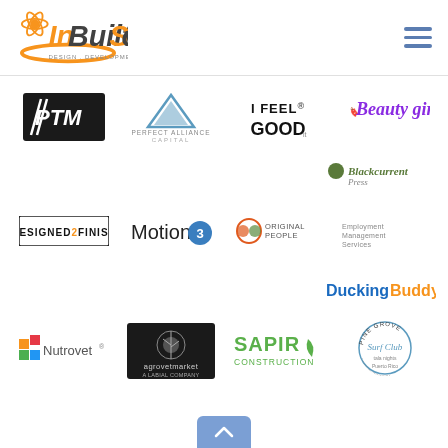InBuiltSoft - Design. Development. Marketing
[Figure (logo): PTM logo - black background with white stylized text]
[Figure (logo): Perfect Alliance Capital logo - blue triangle with text]
[Figure (logo): I FEEL GOOD logo - black bold text]
[Figure (logo): Beauty girl logo - purple script text with icon]
[Figure (logo): Blackcurrent Press logo - green text with leaf icon]
[Figure (logo): Designed2Finish logo - black text bold]
[Figure (logo): Motion3 logo - text with blue circle icon]
[Figure (logo): Original People logo - orange circular icon with text]
[Figure (logo): Employment Management Services logo - small text]
[Figure (logo): DuckingBuddy logo - blue and orange text]
[Figure (logo): Nutrovet logo - colorful squares with text]
[Figure (logo): Agrovet Market logo - dark background with plant icon]
[Figure (logo): SAPIR Construction logo - green text with leaf]
[Figure (logo): Pine Grove Surf Club logo - circular emblem]